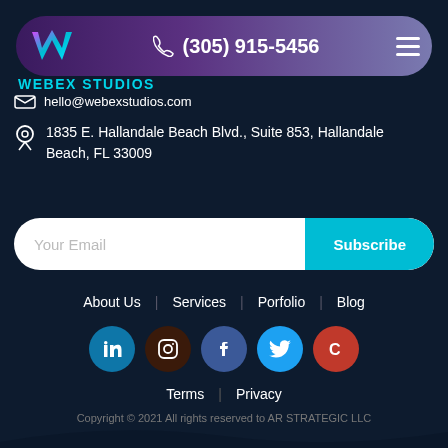[Figure (logo): Webex Studios logo with W shape in teal/pink gradient and purple header bar showing phone number (305) 915-5456 and hamburger menu]
WEBEX STUDIOS
hello@webexstudios.com
1835 E. Hallandale Beach Blvd., Suite 853, Hallandale Beach, FL 33009
Your Email | Subscribe
About Us | Services | Porfolio | Blog
[Figure (infographic): Social media icons row: LinkedIn, Instagram, Facebook, Twitter, Clutch]
Terms | Privacy
Copyright © 2021 All rights reserved to AR STRATEGIC LLC